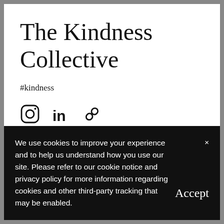The Kindness Collective
#kindness
[Figure (other): Social media icons: Instagram, LinkedIn, and a link/chain icon]
We use cookies to improve your experience and to help us understand how you use our site. Please refer to our cookie notice and privacy policy for more information regarding cookies and other third-party tracking that may be enabled.
Accept